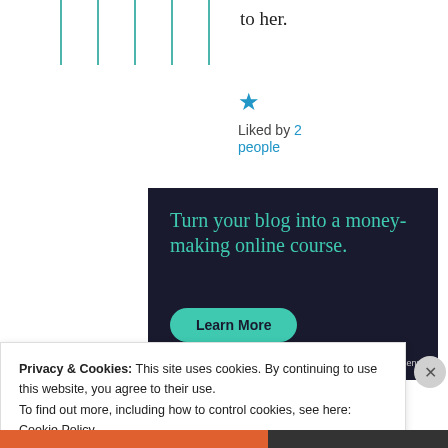to her.
★ Liked by 2 people
[Figure (infographic): Dark navy advertisement banner: 'Turn your blog into a money-making online course.' with a teal 'Learn More' button and sensai logo bottom right]
Privacy & Cookies: This site uses cookies. By continuing to use this website, you agree to their use. To find out more, including how to control cookies, see here: Cookie Policy
Close and accept